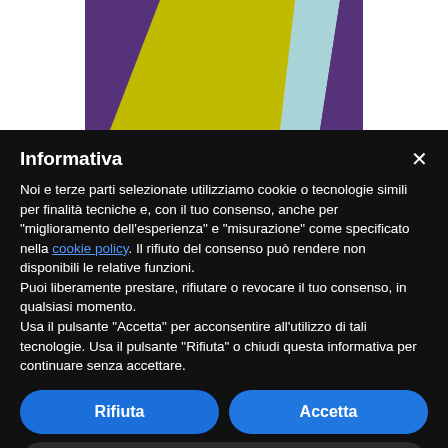[Figure (photo): Partial view of a colorful abstract painting with yellow, purple, and light blue diagonal shapes on a textured surface.]
Informativa
Noi e terze parti selezionate utilizziamo cookie o tecnologie simili per finalità tecniche e, con il tuo consenso, anche per “miglioramento dell’esperienza” e “misurazione” come specificato nella cookie policy. Il rifiuto del consenso può rendere non disponibili le relative funzioni.
Puoi liberamente prestare, rifiutare o revocare il tuo consenso, in qualsiasi momento.
Usa il pulsante “Accetta” per acconsentire all’utilizzo di tali tecnologie. Usa il pulsante “Rifiuta” o chiudi questa informativa per continuare senza accettare.
Rifiuta
Accetta
Scopri di più e personalizza